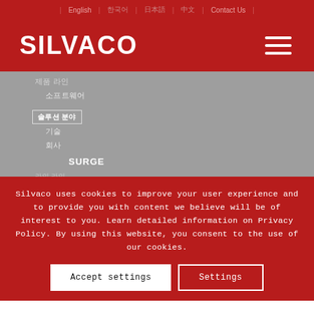| English | 한국어 | 日本語 | 中文 | Contact Us |
[Figure (logo): Silvaco logo with hamburger menu icon on dark red background]
제품 라인
소프트웨어
솔루션 분야
기술
회사
SURGE
Silvaco uses cookies to improve your user experience and to provide you with content we believe will be of interest to you. Learn detailed information on Privacy Policy. By using this website, you consent to the use of our cookies.